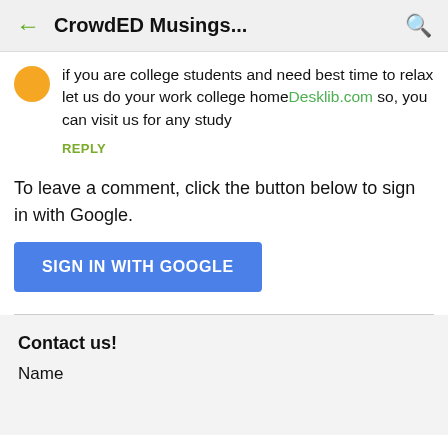CrowdED Musings...
if you are college students and need best time to relax let us do your work college homeDesklib.com so, you can visit us for any study
REPLY
To leave a comment, click the button below to sign in with Google.
SIGN IN WITH GOOGLE
Contact us!
Name